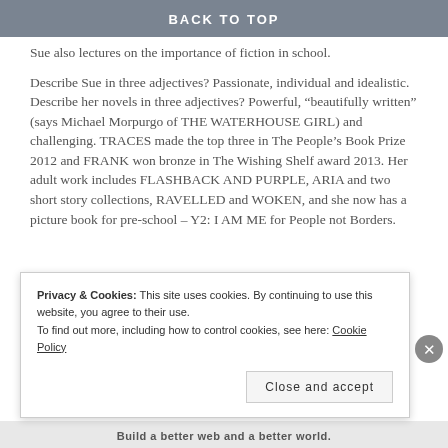BACK TO TOP
Sue also lectures on the importance of fiction in school.
Describe Sue in three adjectives? Passionate, individual and idealistic. Describe her novels in three adjectives? Powerful, “beautifully written” (says Michael Morpurgo of THE WATERHOUSE GIRL) and challenging. TRACES made the top three in The People’s Book Prize 2012 and FRANK won bronze in The Wishing Shelf award 2013. Her adult work includes FLASHBACK AND PURPLE, ARIA and two short story collections, RAVELLED and WOKEN, and she now has a picture book for pre-school – Y2: I AM ME for People not Borders.
Privacy & Cookies: This site uses cookies. By continuing to use this website, you agree to their use.
To find out more, including how to control cookies, see here: Cookie Policy
Build a better web and a better world.